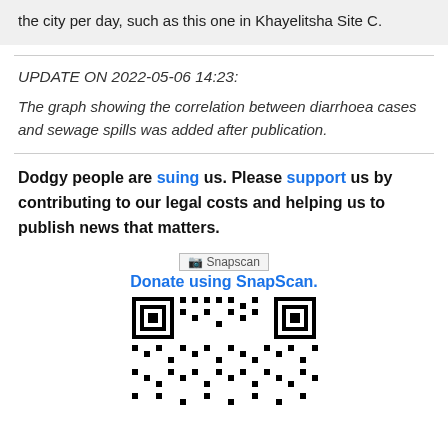the city per day, such as this one in Khayelitsha Site C.
UPDATE ON 2022-05-06 14:23:
The graph showing the correlation between diarrhoea cases and sewage spills was added after publication.
Dodgy people are suing us. Please support us by contributing to our legal costs and helping us to publish news that matters.
[Figure (other): Snapscan logo image placeholder]
Donate using SnapScan.
[Figure (other): QR code for SnapScan donation]